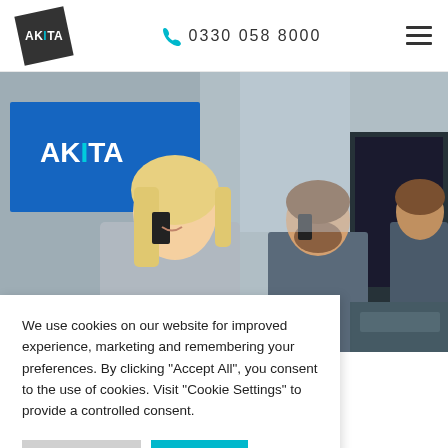AKITA | 0330 058 8000
[Figure (photo): Office environment showing employees on phones and at computers, with an AKITA branded screen in the background.]
We use cookies on our website for improved experience, marketing and remembering your preferences. By clicking “Accept All”, you consent to the use of cookies. Visit “Cookie Settings” to provide a controlled consent.
Cookie Settings | Accept All
ORRINGTON